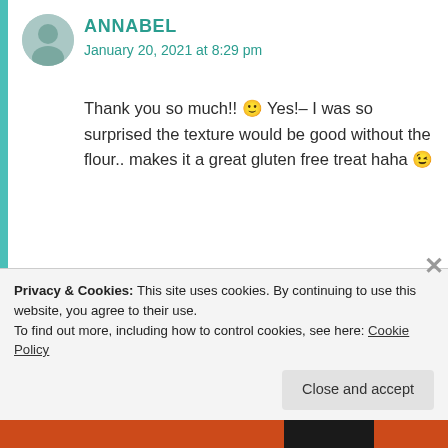ANNABEL
January 20, 2021 at 8:29 pm
Thank you so much!! 🙂 Yes!– I was so surprised the texture would be good without the flour.. makes it a great gluten free treat haha 😉
★ Liked by 1 person
Reply →
TANYBYTES
Privacy & Cookies: This site uses cookies. By continuing to use this website, you agree to their use.
To find out more, including how to control cookies, see here: Cookie Policy
Close and accept